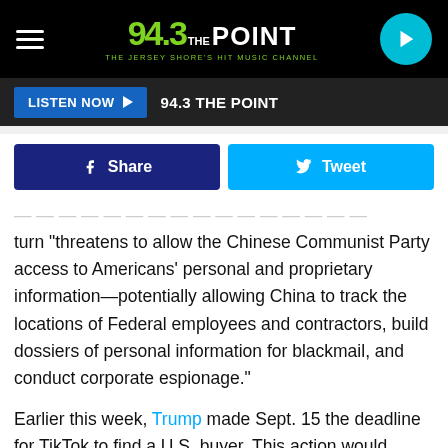94.3 THE POINT — THE JERSEY SHORE'S HIT MUSIC CHANNEL
LISTEN NOW  94.3 THE POINT
Share   Tweet
turn "threatens to allow the Chinese Communist Party access to Americans' personal and proprietary information—potentially allowing China to track the locations of Federal employees and contractors, build dossiers of personal information for blackmail, and conduct corporate espionage."
Earlier this week, Trump made Sept. 15 the deadline for TikTok to find a U.S. buyer. This action would nullify the potential ban on its use among American citizens. However, the president says that TikTok's failure to secure a U.S. buyer